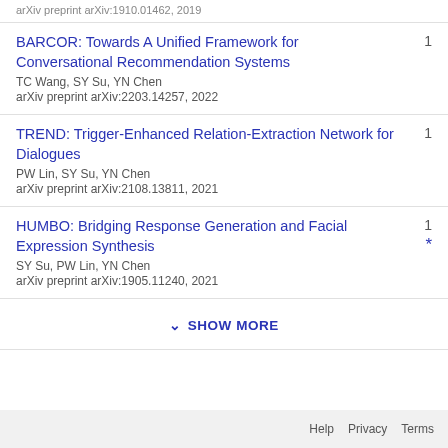arXiv preprint arXiv:1910.01462, 2019
BARCOR: Towards A Unified Framework for Conversational Recommendation Systems
TC Wang, SY Su, YN Chen
arXiv preprint arXiv:2203.14257, 2022
1
TREND: Trigger-Enhanced Relation-Extraction Network for Dialogues
PW Lin, SY Su, YN Chen
arXiv preprint arXiv:2108.13811, 2021
1
HUMBO: Bridging Response Generation and Facial Expression Synthesis
SY Su, PW Lin, YN Chen
arXiv preprint arXiv:1905.11240, 2021
1 *
SHOW MORE
Help   Privacy   Terms